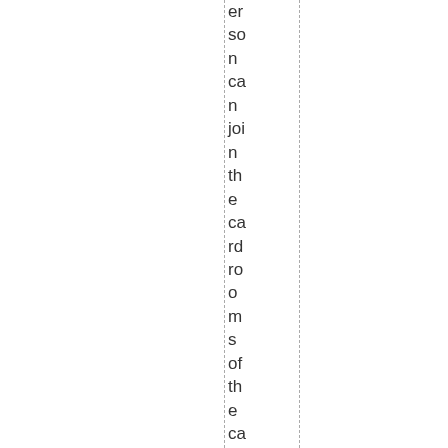er so n ca n joi n th e ca rd ro o m s of th e ca si n o in or d er to pl ay a